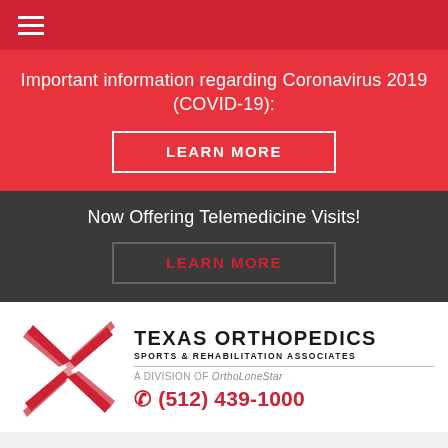[Figure (other): Red navigation bar with hamburger menu icon (three white horizontal lines)]
Important information regarding Coronavirus 2019 (COVID-19):
LEARN MORE
Now Offering Telemedicine Visits!
LEARN MORE
[Figure (logo): Texas Orthopedics Sports & Rehabilitation Associates logo with red star graphic and phone number (512) 439-1000. A division of OrthoLoneStar.]
High Ankle Sprain